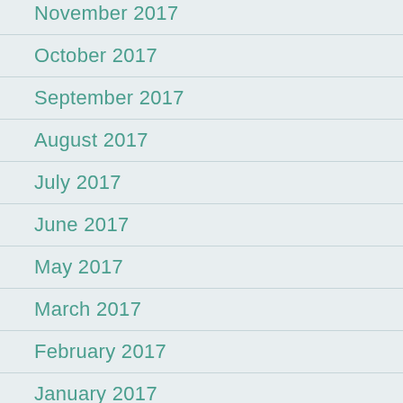November 2017
October 2017
September 2017
August 2017
July 2017
June 2017
May 2017
March 2017
February 2017
January 2017
December 2016